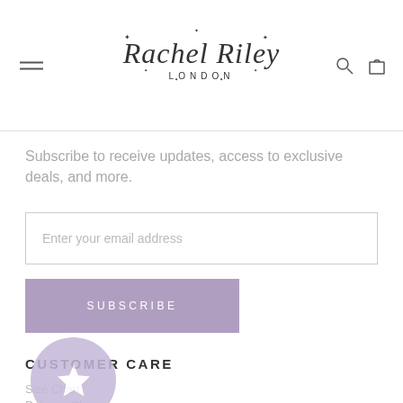Rachel Riley London — navigation header with hamburger menu, logo, search and bag icons
Subscribe to receive updates, access to exclusive deals, and more.
Enter your email address
SUBSCRIBE
CUSTOMER CARE
Size Chart
Delivery Charges